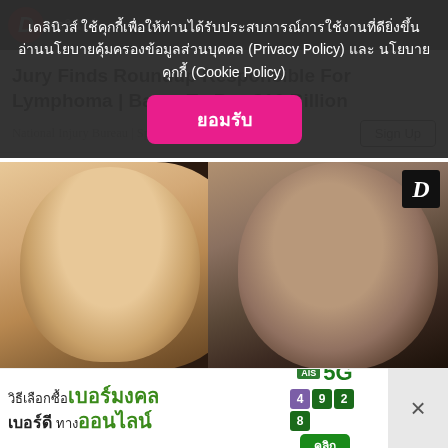เดลินิวส์
เดลินิวส์ ใช้คุกกี้เพื่อให้ท่านได้รับประสบการณ์การใช้งานที่ดียิ่งขึ้น อ่านนโยบายคุ้มครองข้อมูลส่วนบุคคล (Privacy Policy) และ นโยบายคุกกี้ (Cookie Policy)
ยอมรับ
Jury Finds Roundup Responsible For Lymphoma | Bayer To Pay $10 Billion
National Injury Bureau | Sponsored
Sign Up
[Figure (photo): Two faces: a young person with shaved head on the left, and an older person on the right, against a dark red/maroon background. Daily News (D) logo in top right corner.]
[Figure (infographic): AIS 5G advertisement banner. Text reads: วิธีเลือกซื้อเบอร์มงคล เบอร์ดี ทางออนไลน์ คลิก (How to choose and buy lucky numbers, good numbers online, click). Shows SIM card graphic and number tiles with digits 4, 9, 2, 8.]
×